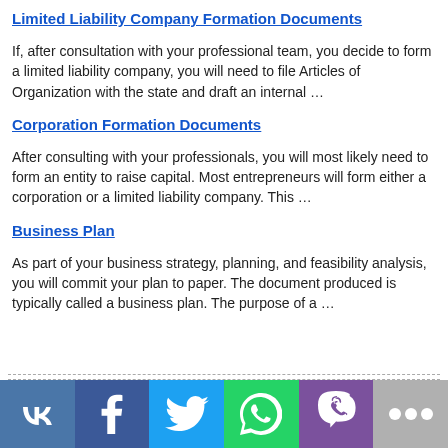Limited Liability Company Formation Documents
If, after consultation with your professional team, you decide to form a limited liability company, you will need to file Articles of Organization with the state and draft an internal …
Corporation Formation Documents
After consulting with your professionals, you will most likely need to form an entity to raise capital. Most entrepreneurs will form either a corporation or a limited liability company. This …
Business Plan
As part of your business strategy, planning, and feasibility analysis, you will commit your plan to paper. The document produced is typically called a business plan. The purpose of a …
Social sharing bar: VK, Facebook, Twitter, WhatsApp, Viber, More